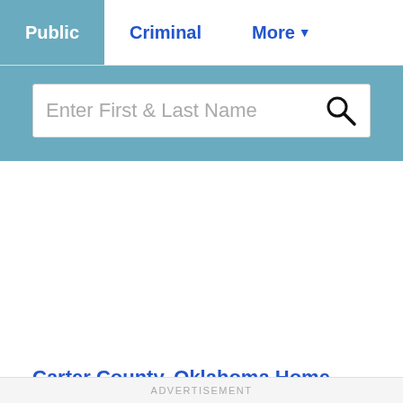Public | Criminal | More
[Figure (screenshot): Search bar with placeholder text 'Enter First & Last Name' and a search icon on the right, set against a teal/blue background]
Carter County, Oklahoma Home Page
General information about Carter County
ADVERTISEMENT